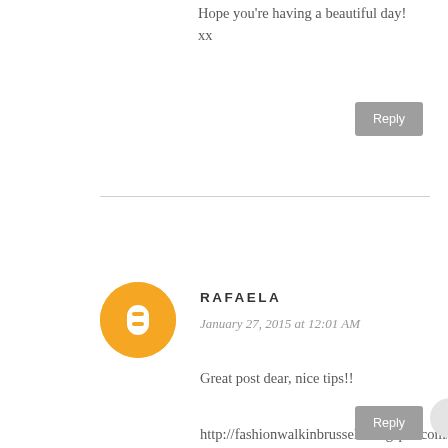Hope you're having a beautiful day! xx
Reply
RAFAELA
January 27, 2015 at 12:01 AM
Great post dear, nice tips!!
http://fashionwalkinbrussels.blogspot.com/
Reply